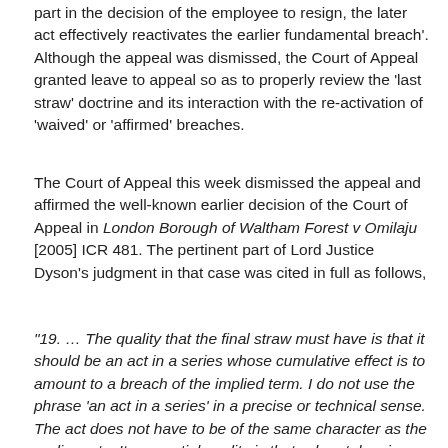part in the decision of the employee to resign, the later act effectively reactivates the earlier fundamental breach'. Although the appeal was dismissed, the Court of Appeal granted leave to appeal so as to properly review the 'last straw' doctrine and its interaction with the re-activation of 'waived' or 'affirmed' breaches.
The Court of Appeal this week dismissed the appeal and affirmed the well-known earlier decision of the Court of Appeal in London Borough of Waltham Forest v Omilaju [2005] ICR 481. The pertinent part of Lord Justice Dyson's judgment in that case was cited in full as follows,
’19. … The quality that the final straw must have is that it should be an act in a series whose cumulative effect is to amount to a breach of the implied term. I do not use the phrase ‘an act in a series’ in a precise or technical sense. The act does not have to be of the same character as the earlier acts. Its essential quality is that, when taken in conjunction with the earlier acts on which the employee relies, it amounts to a breach of the implied term of trust and